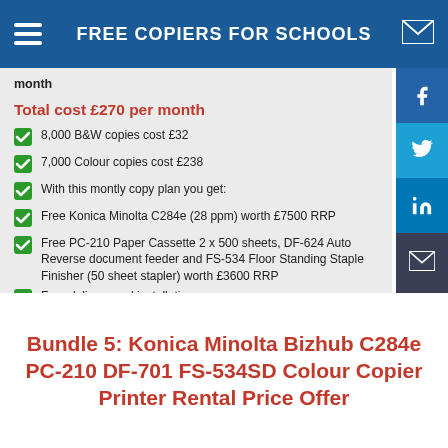FREE COPIERS FOR SCHOOLS
month
Total cost £270 per month
8,000 B&W copies cost £32
7,000 Colour copies cost £238
With this montly copy plan you get:
Free Konica Minolta C284e (28 ppm) worth £7500 RRP
Free PC-210 Paper Cassette 2 x 500 sheets, DF-624 Auto Reverse document feeder and FS-534 Floor Standing Staple Finisher (50 sheet stapler) worth £3600 RRP
Free delivery and installation
Free toners, maintenance, spare parts
Free training & support onsite & online
Free upgrade
Price per copy can be lower with higher monthly volumes
Bundle 5: Konica Minolta Bizhub C284e PC-210 DF-701 FS-534SD Colour Copier Printer Rental Price Offer